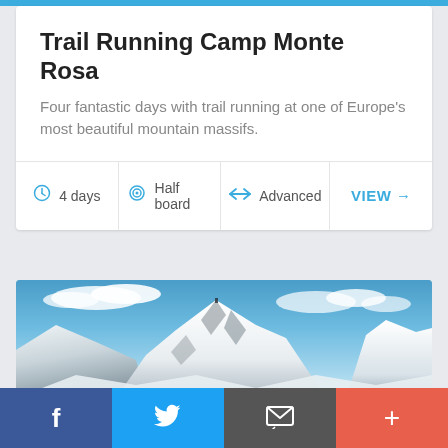Trail Running Camp Monte Rosa
Four fantastic days with trail running at one of Europe's most beautiful mountain massifs.
4 days   Half board   Advanced   VIEW →
[Figure (photo): Snow-capped mountain peaks (Monte Rosa massif) under a blue sky with clouds]
f   (Twitter bird)   (Email icon)   +